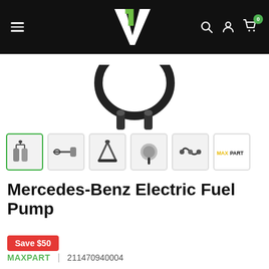V1 (logo) — navigation header with hamburger menu, search, account, and cart icons
[Figure (photo): Main product image showing a Mercedes-Benz electric fuel pump with black hose connectors, partially visible at top of page]
[Figure (photo): Thumbnail row showing 5 product photos of the electric fuel pump from different angles plus a MAXPART logo thumbnail. First thumbnail is selected (green border).]
Mercedes-Benz Electric Fuel Pump
Save $50
MAXPART | 211470940004